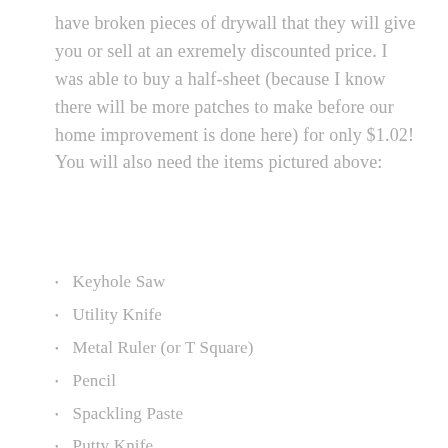have broken pieces of drywall that they will give you or sell at an exremely discounted price. I was able to buy a half-sheet (because I know there will be more patches to make before our home improvement is done here) for only $1.02! You will also need the items pictured above:
Keyhole Saw
Utility Knife
Metal Ruler (or T Square)
Pencil
Spackling Paste
Putty Knife